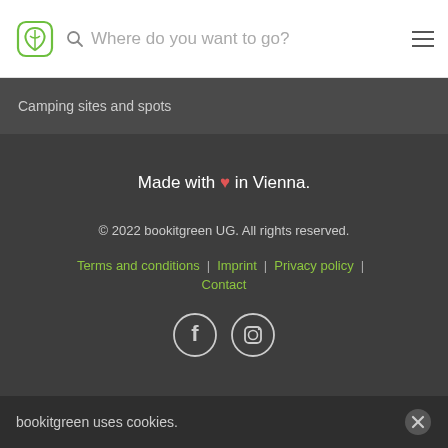Where do you want to go?
Camping sites and spots
Made with ♥ in Vienna.
© 2022 bookitgreen UG. All rights reserved.
Terms and conditions | Imprint | Privacy policy | Contact
[Figure (other): Social media icons: Facebook and Instagram circle icons]
bookitgreen uses cookies.